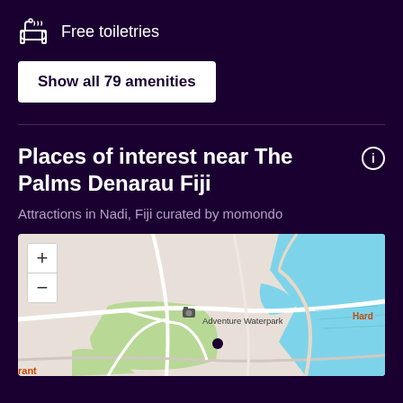Free toiletries
Show all 79 amenities
Places of interest near The Palms Denarau Fiji
Attractions in Nadi, Fiji curated by momondo
[Figure (map): Map showing area near The Palms Denarau Fiji with Adventure Waterpark labeled, zoom controls (+/-), water features (blue), green areas, and roads. 'Rant' partial text visible bottom-left, 'Hard' partial text visible right side.]